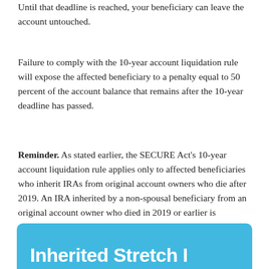Until that deadline is reached, your beneficiary can leave the account untouched.
Failure to comply with the 10-year account liquidation rule will expose the affected beneficiary to a penalty equal to 50 percent of the account balance that remains after the 10-year deadline has passed.
Reminder. As stated earlier, the SECURE Act's 10-year account liquidation rule applies only to affected beneficiaries who inherit IRAs from original account owners who die after 2019. An IRA inherited by a non-spousal beneficiary from an original account owner who died in 2019 or earlier is unaffected, so the inherited account can still work as a stretch IRA, the same as before the SECURE Act.
Inherited Stretch I...